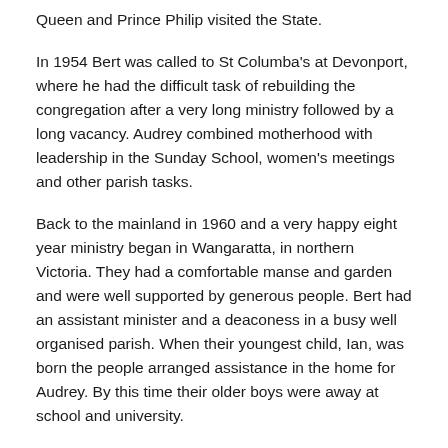Queen and Prince Philip visited the State.
In 1954 Bert was called to St Columba's at Devonport, where he had the difficult task of rebuilding the congregation after a very long ministry followed by a long vacancy. Audrey combined motherhood with leadership in the Sunday School, women's meetings and other parish tasks.
Back to the mainland in 1960 and a very happy eight year ministry began in Wangaratta, in northern Victoria. They had a comfortable manse and garden and were well supported by generous people. Bert had an assistant minister and a deaconess in a busy well organised parish. When their youngest child, Ian, was born the people arranged assistance in the home for Audrey. By this time their older boys were away at school and university.
Some of us will remember when Bert and Audrey came home to South Australia in 1968, having been called to